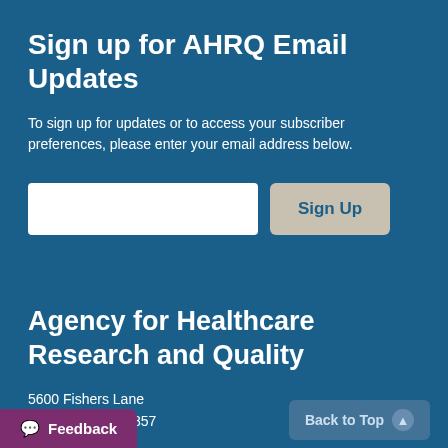Sign up for AHRQ Email Updates
To sign up for updates or to access your subscriber preferences, please enter your email address below.
[Figure (other): Email input field and Sign Up button form]
Agency for Healthcare Research and Quality
5600 Fishers Lane
Rockville, MD 20857
(1) 427-1364
Feedback    Back to Top